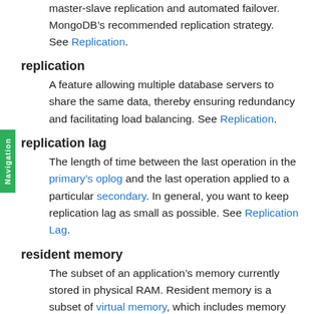master-slave replication and automated failover. MongoDB’s recommended replication strategy. See Replication.
replication
A feature allowing multiple database servers to share the same data, thereby ensuring redundancy and facilitating load balancing. See Replication.
replication lag
The length of time between the last operation in the primary’s oplog and the last operation applied to a particular secondary. In general, you want to keep replication lag as small as possible. See Replication Lag.
resident memory
The subset of an application’s memory currently stored in physical RAM. Resident memory is a subset of virtual memory, which includes memory mapped to physical RAM and to disk.